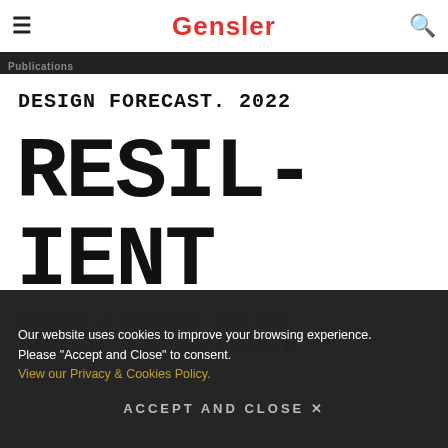Gensler
DESIGN FORECAST. 2022
RESILIENT
DESIGNS A FORECAST FOR THE HUMAN EXPERIENCE
Our website uses cookies to improve your browsing experience. Please “Accept and Close” to consent. View our Privacy & Cookies Policy.
ACCEPT AND CLOSE ×